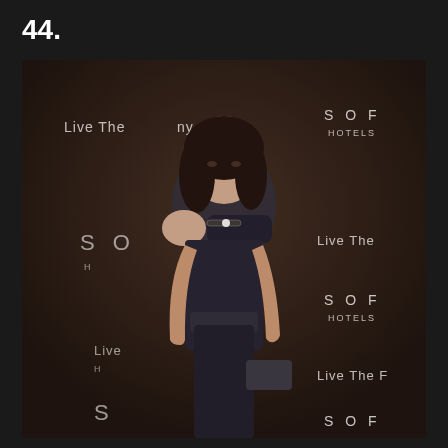44.
[Figure (photo): A young woman with dark hair wearing a black one-shoulder jumpsuit and a choker necklace, holding a dark clutch purse. She is posing in front of a step-and-repeat backdrop featuring the Sofitel Hotels logo and 'Live The' text repeated in white lettering on a dark background.]